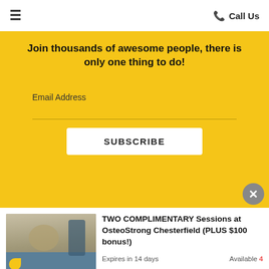☰  Call Us
Join thousands of awesome people, there is only one thing to do!
Email Address
SUBSCRIBE
[Figure (photo): Photo of a woman using exercise/strength equipment with a masked trainer assisting her in a gym setting.]
TWO COMPLIMENTARY Sessions at OsteoStrong Chesterfield (PLUS $100 bonus!)
Expires in 14 days
Available 4
Enter your phone number
CLAIM OFFER
I agree to Terms
5 ★ (10)  Powered by Referrizer